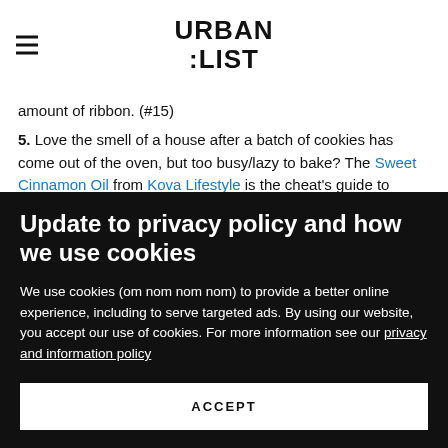URBAN LIST
amount of ribbon. (#15)
5. Love the smell of a house after a batch of cookies has come out of the oven, but too busy/lazy to bake? The Sweet Cinnamon Oil from Kova Lifestyle is the cheat's guide to olfactory merriment.
Update to privacy policy and how we use cookies
We use cookies (om nom nom nom) to provide a better online experience, including to serve targeted ads. By using our website, you accept our use of cookies. For more information see our privacy and information policy
ACCEPT